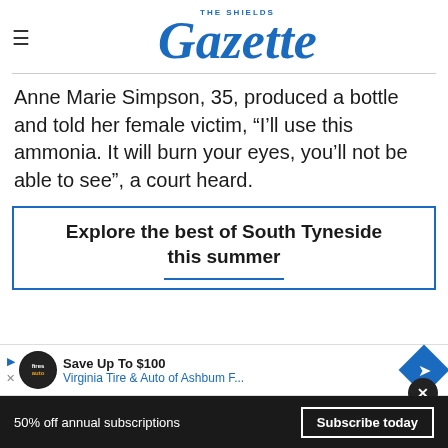THE SHIELDS Gazette
Anne Marie Simpson, 35, produced a bottle and told her female victim, “I’ll use this ammonia. It will burn your eyes, you’ll not be able to see”, a court heard.
Explore the best of South Tyneside this summer
[Figure (other): Advertisement: Save Up To $100 - Virginia Tire & Auto of Ashburn F...]
50% off annual subscriptions  Subscribe today